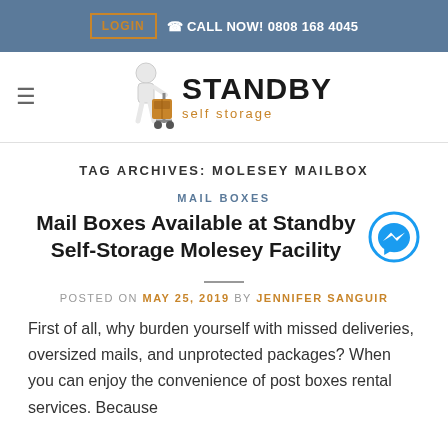LOGIN  CALL NOW! 0808 168 4045
[Figure (logo): Standby Self Storage logo with a cartoon figure pushing a dolly with boxes, text reading STANDBY self storage]
TAG ARCHIVES: MOLESEY MAILBOX
MAIL BOXES
Mail Boxes Available at Standby Self-Storage Molesey Facility
POSTED ON MAY 25, 2019 BY JENNIFER SANGUIR
First of all, why burden yourself with missed deliveries, oversized mails, and unprotected packages? When you can enjoy the convenience of post boxes rental services. Because